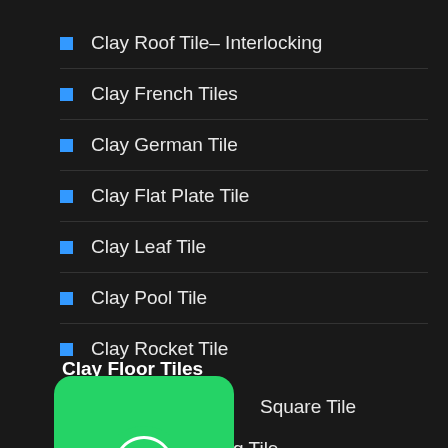Clay Roof Tile– Interlocking
Clay French Tiles
Clay German Tile
Clay Flat Plate Tile
Clay Leaf Tile
Clay Pool Tile
Clay Rocket Tile
Clay Floor Tiles
Square Tile
Clay Fan Wing Tile
[Figure (logo): WhatsApp green button with chat bubble icon]